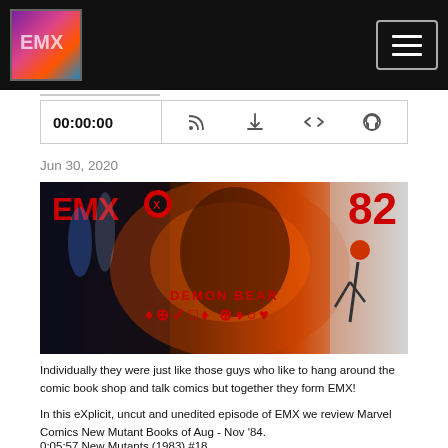[Figure (logo): EMX podcast logo with colorful graffiti-style artwork on black header bar]
[Figure (screenshot): Hamburger menu button (three horizontal lines) on black header bar]
[Figure (screenshot): Podcast player bar showing time 00:00:00 and icons for RSS, download, embed, and settings]
Jun 30, 2020
[Figure (photo): EMX podcast episode 82 banner image showing dramatic comic book artwork with DEMON BEAR text and stylized characters, EMX logo top left, number 82 top right in red]
Individually they were just like those guys who like to hang around the comic book shop and talk comics but together they form EMX!
In this eXplicit, uncut and unedited episode of EMX we review Marvel Comics New Mutant Books of Aug - Nov '84.
0:05:57 New Mutants (1983) #18